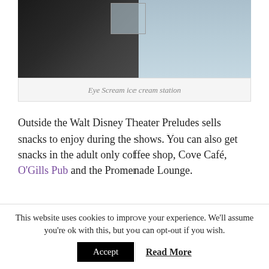[Figure (photo): Partial view of Eye Scream ice cream station with dark appliance/machine on left and light blue background]
Eye Scream ice cream station
Outside the Walt Disney Theater Preludes sells snacks to enjoy during the shows. You can also get snacks in the adult only coffee shop, Cove Café, O'Gills Pub and the Promenade Lounge.
[Figure (photo): Glass display case showing pastries and desserts on shelves]
This website uses cookies to improve your experience. We'll assume you're ok with this, but you can opt-out if you wish.